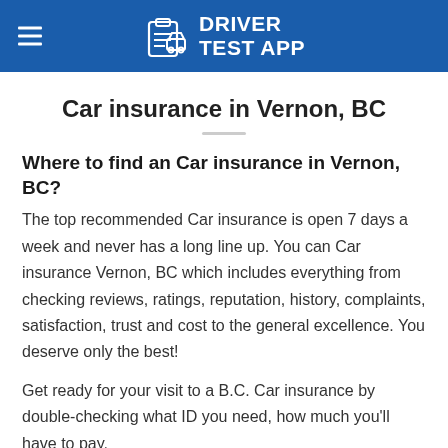DRIVER TEST APP
Car insurance in Vernon, BC
Where to find an Car insurance in Vernon, BC?
The top recommended Car insurance is open 7 days a week and never has a long line up. You can Car insurance Vernon, BC which includes everything from checking reviews, ratings, reputation, history, complaints, satisfaction, trust and cost to the general excellence. You deserve only the best!
Get ready for your visit to a B.C. Car insurance by double-checking what ID you need, how much you'll have to pay,